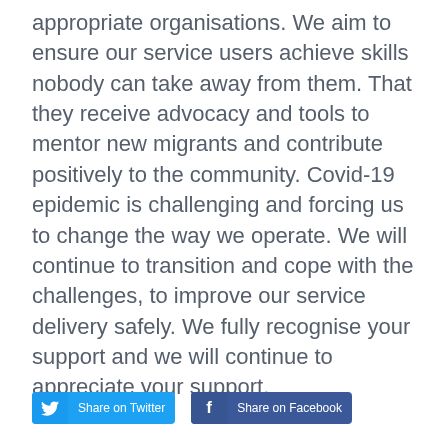appropriate organisations. We aim to ensure our service users achieve skills nobody can take away from them. That they receive advocacy and tools to mentor new migrants and contribute positively to the community. Covid-19 epidemic is challenging and forcing us to change the way we operate. We will continue to transition and cope with the challenges, to improve our service delivery safely. We fully recognise your support and we will continue to appreciate your support.
[Figure (other): Social media share buttons: 'Share on Twitter' (blue with Twitter bird icon) and 'Share on Facebook' (dark blue with Facebook 'f' icon)]